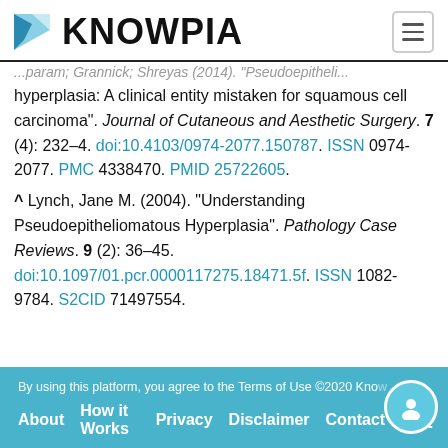KNOWPIA
hyperplasia: A clinical entity mistaken for squamous cell carcinoma". Journal of Cutaneous and Aesthetic Surgery. 7 (4): 232–4. doi:10.4103/0974-2077.150787. ISSN 0974-2077. PMC 4338470. PMID 25722605.
^ Lynch, Jane M. (2004). "Understanding Pseudoepitheliomatous Hyperplasia". Pathology Case Reviews. 9 (2): 36–45. doi:10.1097/01.pcr.0000117275.18471.5f. ISSN 1082-9784. S2CID 71497554.
By using this platform, you agree to the Terms of Use ©2020 Knowpia. About  How it Works  Privacy  Disclaimer  Contact  FAQ